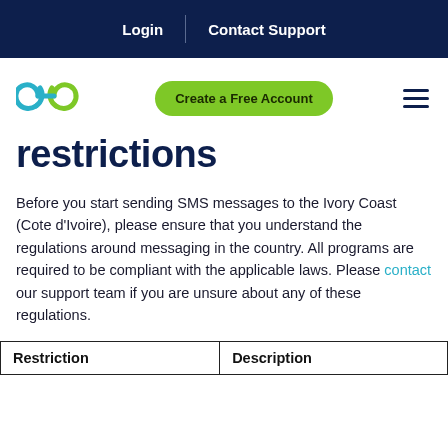Login | Contact Support
[Figure (logo): Linked/chain icon logo in cyan and green colors]
restrictions
Before you start sending SMS messages to the Ivory Coast (Cote d'Ivoire), please ensure that you understand the regulations around messaging in the country. All programs are required to be compliant with the applicable laws. Please contact our support team if you are unsure about any of these regulations.
| Restriction | Description |
| --- | --- |